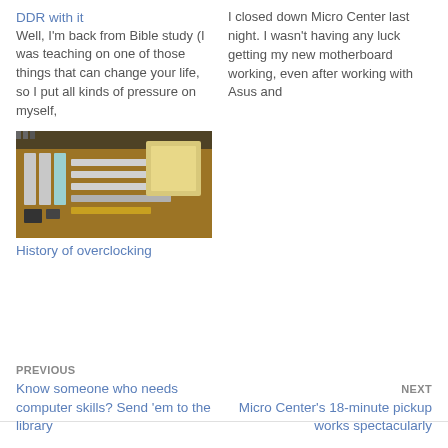DDR with it
Well, I'm back from Bible study (I was teaching on one of those things that can change your life, so I put all kinds of pressure on myself,
I closed down Micro Center last night. I wasn't having any luck getting my new motherboard working, even after working with Asus and
[Figure (photo): Photo of a computer motherboard with expansion slots, CPU socket, and various components visible]
History of overclocking
PREVIOUS
Know someone who needs computer skills? Send 'em to the library
NEXT
Micro Center's 18-minute pickup works spectacularly